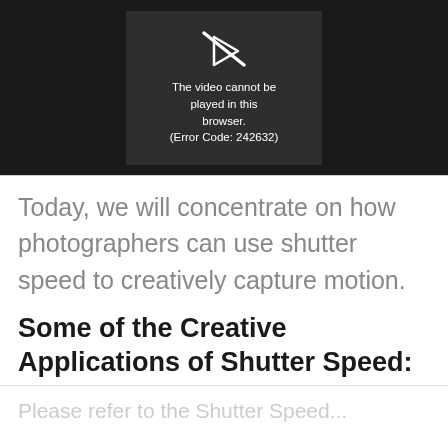[Figure (screenshot): Video player showing error message: 'The video cannot be played in this browser. (Error Code: 242632)' on dark background]
Today, we will concentrate on how photographers can use shutter speed to creatively capture motion.
Some of the Creative Applications of Shutter Speed:
Please refer to the Shutter Speed...